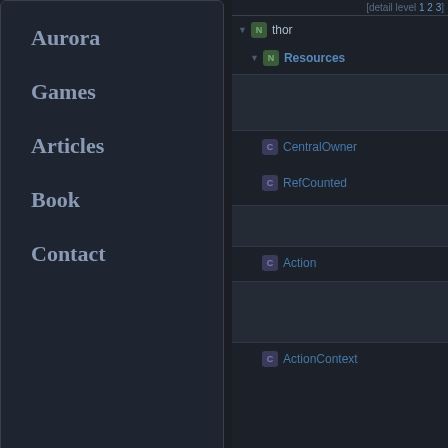Aurora
Games
Articles
Book
Contact
[Figure (screenshot): Code documentation tree view showing namespace 'thor' with sub-namespace 'Resources' and classes CentralOwner, RefCounted, Action, ActionContext. Detail level selector [1 2 3] in top right.]